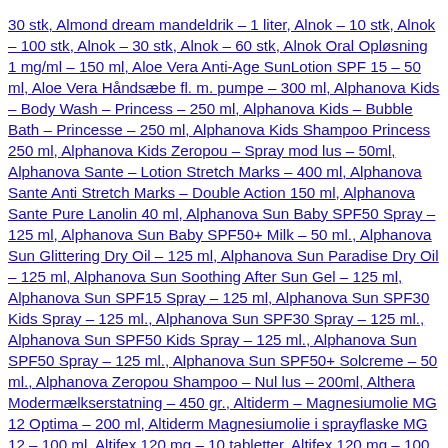30 stk, Almond dream mandeldrik – 1 liter, Alnok – 10 stk, Alnok – 100 stk, Alnok – 30 stk, Alnok – 60 stk, Alnok Oral Opløsning 1 mg/ml – 150 ml, Aloe Vera Anti-Age SunLotion SPF 15 – 50 ml, Aloe Vera Håndsæbe fl. m. pumpe – 300 ml, Alphanova Kids – Body Wash – Princess – 250 ml, Alphanova Kids – Bubble Bath – Princesse – 250 ml, Alphanova Kids Shampoo Princess 250 ml, Alphanova Kids Zeropou – Spray mod lus – 50ml, Alphanova Sante – Lotion Stretch Marks – 400 ml, Alphanova Sante Anti Stretch Marks – Double Action 150 ml, Alphanova Sante Pure Lanolin 40 ml, Alphanova Sun Baby SPF50 Spray – 125 ml, Alphanova Sun Baby SPF50+ Milk – 50 ml., Alphanova Sun Glittering Dry Oil – 125 ml, Alphanova Sun Paradise Dry Oil – 125 ml, Alphanova Sun Soothing After Sun Gel – 125 ml, Alphanova Sun SPF15 Spray – 125 ml, Alphanova Sun SPF30 Kids Spray – 125 ml., Alphanova Sun SPF30 Spray – 125 ml., Alphanova Sun SPF50 Kids Spray – 125 ml., Alphanova Sun SPF50 Spray – 125 ml., Alphanova Sun SPF50+ Solcreme – 50 ml., Alphanova Zeropou Shampoo – Nul lus – 200ml, Althera Modermælkserstatning – 450 gr., Altiderm – Magnesiumolie MG 12 Optima – 200 ml, Altiderm Magnesiumolie i sprayflaske MG 12 – 100 ml, Altifex 120 mg – 10 tabletter, Altifex 120 mg – 100 tabletter, Altifex 120 mg – 30 tabletter, Aluminiumklorid, roll-on, 60 ml, AminoJern – 40 tab, Amisa Falaffel mix Ø – 140 g, Amizan (vagtelæg) – 120 stk., Amor Torchbearer...